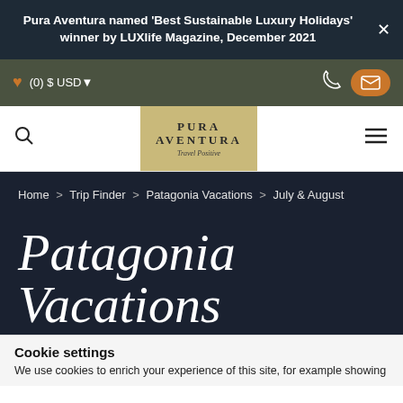Pura Aventura named 'Best Sustainable Luxury Holidays' winner by LUXlife Magazine, December 2021
(0) $ USD
[Figure (logo): Pura Aventura logo with text 'PURA AVENTURA Travel Positive' on gold/tan background]
Home > Trip Finder > Patagonia Vacations > July & August
Patagonia Vacations
Cookie settings
We use cookies to enrich your experience of this site, for example showing